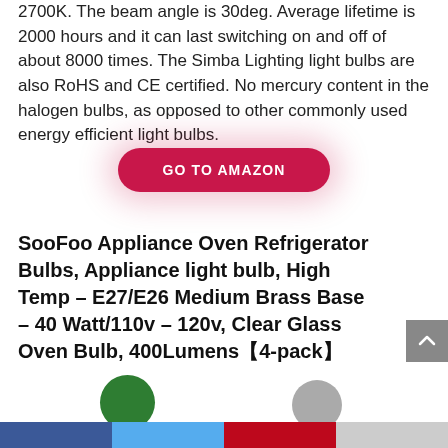2700K. The beam angle is 30deg. Average lifetime is 2000 hours and it can last switching on and off of about 8000 times. The Simba Lighting light bulbs are also RoHS and CE certified. No mercury content in the halogen bulbs, as opposed to other commonly used energy efficient light bulbs.
[Figure (other): GO TO AMAZON button — a red pill-shaped button with white bold text and a pink glow shadow]
SooFoo Appliance Oven Refrigerator Bulbs, Appliance light bulb, High Temp – E27/E26 Medium Brass Base – 40 Watt/110v – 120v, Clear Glass Oven Bulb, 400Lumens【4-pack】
[Figure (other): Social sharing bar at the bottom with Facebook (blue), Twitter (light blue), Pinterest (red), and a gray section. Two circular social icons partially visible above the bar.]